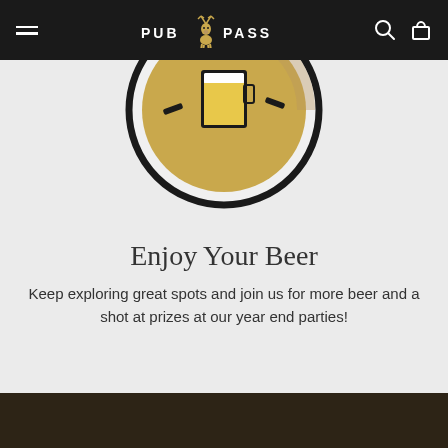PUB PASS
[Figure (illustration): Circular badge illustration with golden background showing a beer glass/mug icon in the center, with decorative marks on sides, on a light gray background. Only the bottom portion of the circle is visible.]
Enjoy Your Beer
Keep exploring great spots and join us for more beer and a shot at prizes at our year end parties!